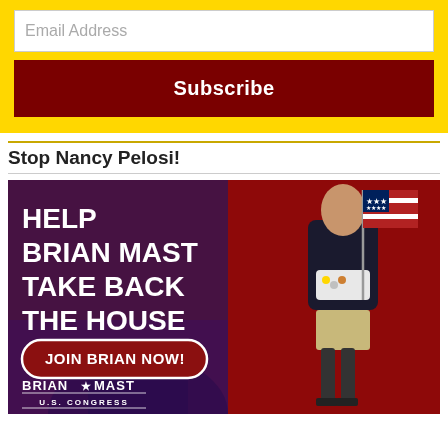Email Address
Subscribe
Stop Nancy Pelosi!
[Figure (infographic): Political campaign ad for Brian Mast for U.S. Congress. Red and purple background with Capitol building silhouette. Text: HELP BRIAN MAST TAKE BACK THE HOUSE. Button: JOIN BRIAN NOW! Logo: BRIAN★MAST U.S. CONGRESS. Image of man in suit jacket holding American flag with prosthetic legs.]